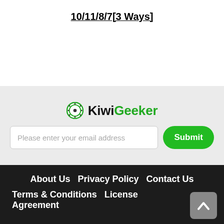10/11/8/7[3 Ways]
[Figure (logo): KiwiGeeker logo with green circular icon and text]
Please enter your email address
Submit
About Us  Privacy Policy  Contact Us
Terms & Conditions  License Agreement
Uninstall
Kiwigeeker uses cookies to ensure you get the best experience on our website.  Learn more
Got it